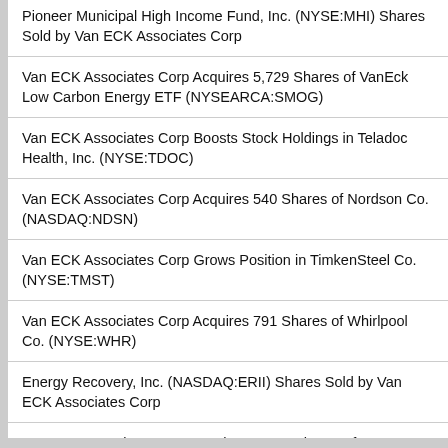Pioneer Municipal High Income Fund, Inc. (NYSE:MHI) Shares Sold by Van ECK Associates Corp
Van ECK Associates Corp Acquires 5,729 Shares of VanEck Low Carbon Energy ETF (NYSEARCA:SMOG)
Van ECK Associates Corp Boosts Stock Holdings in Teladoc Health, Inc. (NYSE:TDOC)
Van ECK Associates Corp Acquires 540 Shares of Nordson Co. (NASDAQ:NDSN)
Van ECK Associates Corp Grows Position in TimkenSteel Co. (NYSE:TMST)
Van ECK Associates Corp Acquires 791 Shares of Whirlpool Co. (NYSE:WHR)
Energy Recovery, Inc. (NASDAQ:ERII) Shares Sold by Van ECK Associates Corp
Van ECK Associates Corp Purchases 741 Shares of DT Midstream, Inc. (NYSE:DTM)